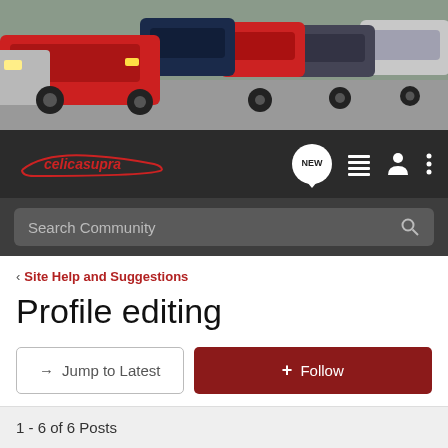[Figure (photo): Banner photo of multiple Toyota Supra/Celica cars parked in a row, various colors including red, dark blue, grey, and silver]
[Figure (logo): celicasupra logo in red italic text with red oval outline, on dark background navigation bar with NEW chat bubble, list icon, user icon, and menu dots]
Search Community
< Site Help and Suggestions
Profile editing
→ Jump to Latest
+ Follow
1 - 6 of 6 Posts
quick · Registered 🇺🇸
Joined Mar 12, 2003 · 1,186 Posts